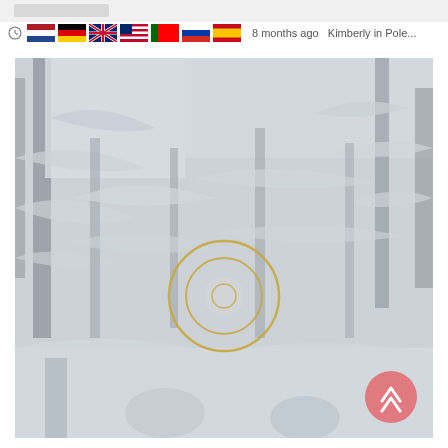8 months ago   Kimberly in Pole...
[Figure (photo): A snowy winter forest scene with snow-covered trees and branches. A golden circular target/viewfinder overlay is centered on the image. A pink/red scroll-to-top button is in the bottom-right corner.]